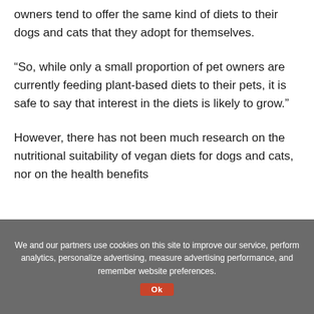owners tend to offer the same kind of diets to their dogs and cats that they adopt for themselves.
“So, while only a small proportion of pet owners are currently feeding plant-based diets to their pets, it is safe to say that interest in the diets is likely to grow.”
However, there has not been much research on the nutritional suitability of vegan diets for dogs and cats, nor on the health benefits
We and our partners use cookies on this site to improve our service, perform analytics, personalize advertising, measure advertising performance, and remember website preferences.